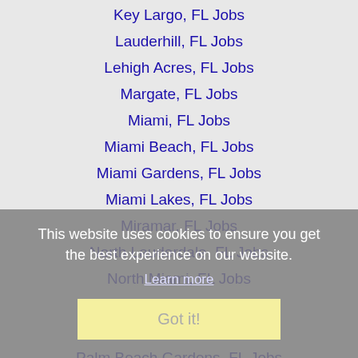Key Largo, FL Jobs
Lauderhill, FL Jobs
Lehigh Acres, FL Jobs
Margate, FL Jobs
Miami, FL Jobs
Miami Beach, FL Jobs
Miami Gardens, FL Jobs
Miami Lakes, FL Jobs
Miramar, FL Jobs
North Lauderdale, FL Jobs
North Miami, FL Jobs
Oakland Park, FL Jobs
Palm Beach, FL Jobs
Palm Beach Gardens, FL Jobs
Pembroke Pines, FL Jobs
Plantation, FL Jobs
Pompano Beach, FL Jobs
Port St. Lucie, FL Jobs
This website uses cookies to ensure you get the best experience on our website. Learn more Got it!